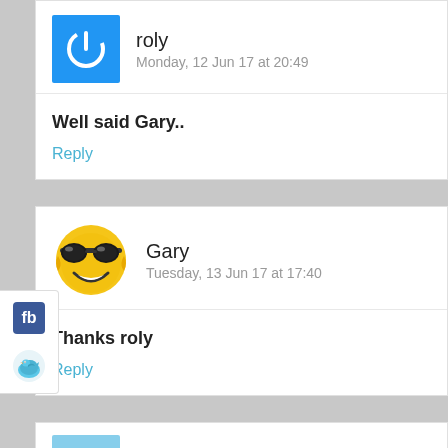[Figure (screenshot): Avatar for user 'roly' - blue square with white power button icon]
roly
Monday, 12 Jun 17 at 20:49
Well said Gary..
Reply
[Figure (infographic): Social share buttons: Facebook (fb) and Twitter bird icon]
[Figure (illustration): Emoji avatar - yellow smiley face with sunglasses for user Gary]
Gary
Tuesday, 13 Jun 17 at 17:40
Thanks roly
Reply
[Figure (photo): Partial avatar photo for user 1735099]
1735099